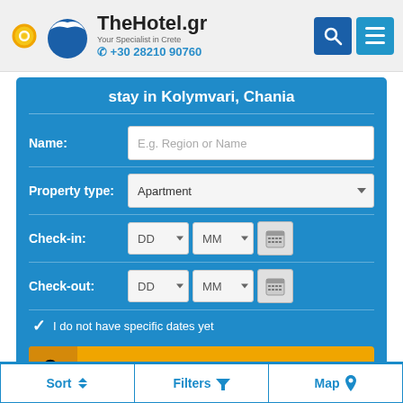[Figure (logo): TheHotel.gr logo with sun icon, bird/seagull logo, brand name 'TheHotel.gr', tagline 'Your Specialist in Crete', phone '+30 28210 90760', and two icon buttons (search and menu)]
stay in Kolymvari, Chania
Name: E.g. Region or Name
Property type: Apartment
Check-in: DD MM
Check-out: DD MM
✓ I do not have specific dates yet
SEARCH
Sort  Filters  Map